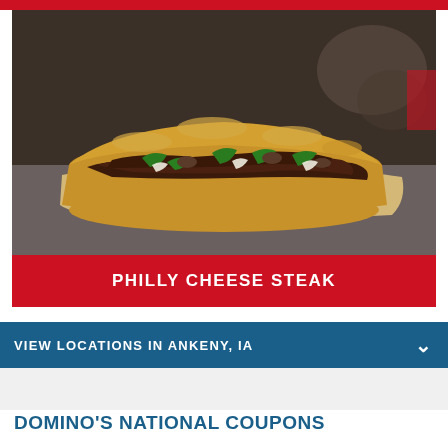[Figure (photo): Photo of a Philly Cheese Steak sub sandwich with peppers, onions, mushrooms and steak on toasted bread, placed on parchment paper]
PHILLY CHEESE STEAK
VIEW LOCATIONS IN ANKENY, IA
DOMINO'S NATIONAL COUPONS